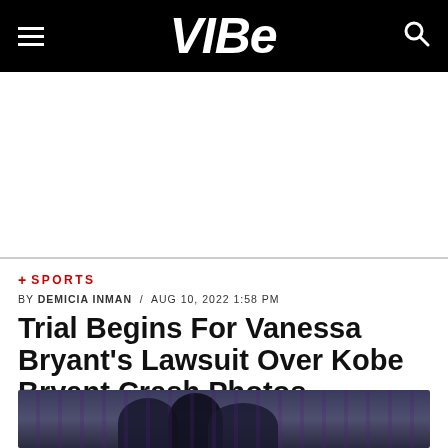VIBE
[Figure (other): Advertisement / blank white space below nav bar]
+ SPORTS
BY DEMICIA INMAN / AUG 10, 2022 1:58 PM
Trial Begins For Vanessa Bryant's Lawsuit Over Kobe Bryant Crash Photos
[Figure (photo): Photo of Kobe Bryant and Vanessa Bryant at a formal event with purple backdrop]